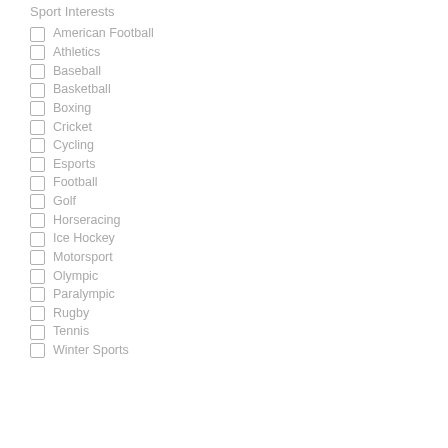Sport Interests
American Football
Athletics
Baseball
Basketball
Boxing
Cricket
Cycling
Esports
Football
Golf
Horseracing
Ice Hockey
Motorsport
Olympic
Paralympic
Rugby
Tennis
Winter Sports